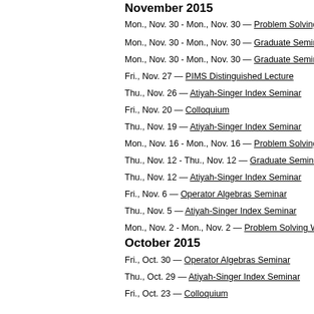November 2015
Mon., Nov. 30 - Mon., Nov. 30 — Problem Solving W…
Mon., Nov. 30 - Mon., Nov. 30 — Graduate Seminar…
Mon., Nov. 30 - Mon., Nov. 30 — Graduate Seminar…
Fri., Nov. 27 — PIMS Distinguished Lecture
Thu., Nov. 26 — Atiyah-Singer Index Seminar
Fri., Nov. 20 — Colloquium
Thu., Nov. 19 — Atiyah-Singer Index Seminar
Mon., Nov. 16 - Mon., Nov. 16 — Problem Solving W…
Thu., Nov. 12 - Thu., Nov. 12 — Graduate Seminar…
Thu., Nov. 12 — Atiyah-Singer Index Seminar
Fri., Nov. 6 — Operator Algebras Seminar
Thu., Nov. 5 — Atiyah-Singer Index Seminar
Mon., Nov. 2 - Mon., Nov. 2 — Problem Solving Wo…
October 2015
Fri., Oct. 30 — Operator Algebras Seminar
Thu., Oct. 29 — Atiyah-Singer Index Seminar
Fri., Oct. 23 — Colloquium